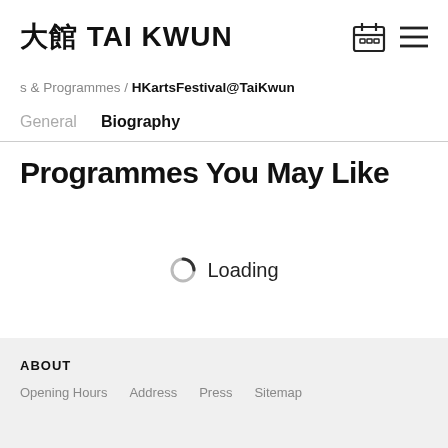大館 TAI KWUN
s & Programmes / HKartsFestival@TaiKwun
General   Biography
Programmes You May Like
Loading
ABOUT
Opening Hours   Address   Press   Sitemap